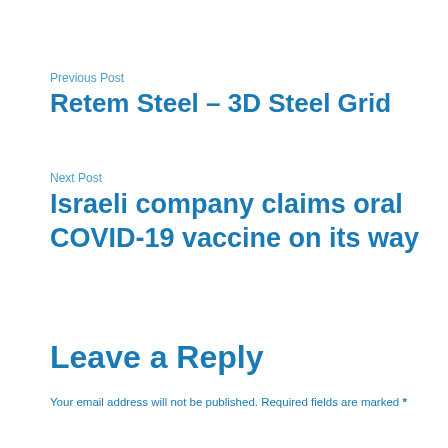Previous Post
Retem Steel – 3D Steel Grid
Next Post
Israeli company claims oral COVID-19 vaccine on its way
Leave a Reply
Your email address will not be published. Required fields are marked *